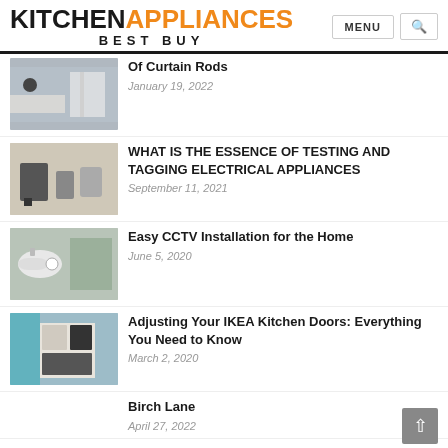KITCHEN APPLIANCES BEST BUY — MENU [search]
Of Curtain Rods
January 19, 2022
WHAT IS THE ESSENCE OF TESTING AND TAGGING ELECTRICAL APPLIANCES
September 11, 2021
Easy CCTV Installation for the Home
June 5, 2020
Adjusting Your IKEA Kitchen Doors: Everything You Need to Know
March 2, 2020
Birch Lane
April 27, 2022